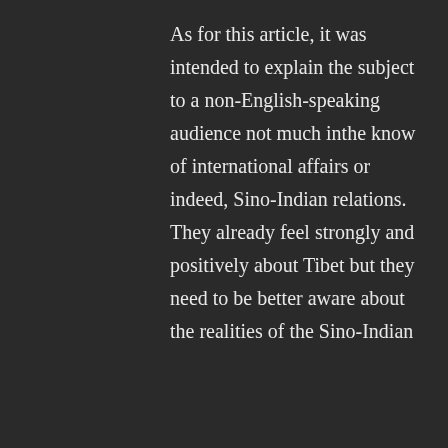As for this article, it was intended to explain the subject to a non-English-speaking audience not much inthe know of international affairs or indeed, Sino-Indian relations. They already feel strongly and positively about Tibet but they need to be better aware about the realities of the Sino-Indian